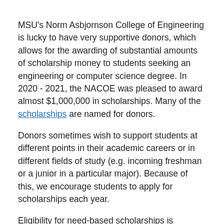MSU's Norm Asbjornson College of Engineering is lucky to have very supportive donors, which allows for the awarding of substantial amounts of scholarship money to students seeking an engineering or computer science degree. In 2020 - 2021, the NACOE was pleased to award almost $1,000,000 in scholarships. Many of the scholarships are named for donors.
Donors sometimes wish to support students at different points in their academic careers or in different fields of study (e.g. incoming freshman or a junior in a particular major). Because of this, we encourage students to apply for scholarships each year.
Eligibility for need-based scholarships is determined by the MSU Office of Financial Aid. Students who wish to be considered for need-based scholarships must complete the FAFSA student aid application. MSU's priority deadline to file a FAFSA is December 1.